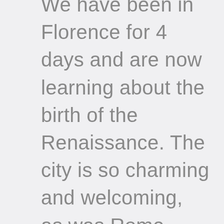We have been in Florence for 4 days and are now learning about the birth of the Renaissance. The city is so charming and welcoming, as was Rome. Everyone is so surprised to learn we are from the United States since the only way here right now is through Croatia. I think we are one of the only American family tourists in Italy right now. Our time here has been amazing so far, and we can't wait to explore more of this beautiful country! Our pandemic travel journey and world schooling continues in Italy!